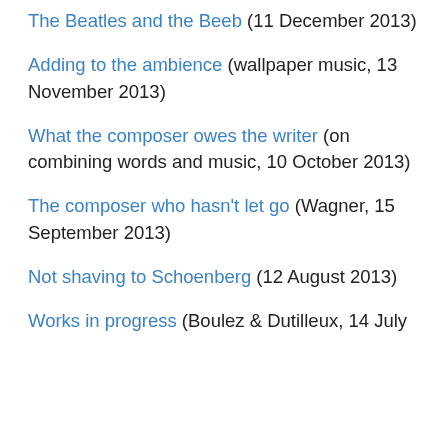The Beatles and the Beeb (11 December 2013)
Adding to the ambience (wallpaper music, 13 November 2013)
What the composer owes the writer (on combining words and music, 10 October 2013)
The composer who hasn't let go (Wagner, 15 September 2013)
Not shaving to Schoenberg (12 August 2013)
Works in progress (Boulez & Dutilleux, 14 July